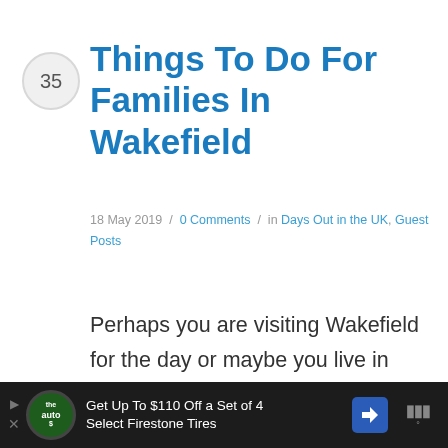35 Things To Do For Families In Wakefield
18 May 2019 / 0 Comments / in Days Out in the UK, Guest Posts
Perhaps you are visiting Wakefield for the day or maybe you live in Wakefield. but either way if you have found this blog post and you are interested in looking for things
[Figure (other): Advertisement banner: Get Up To $110 Off a Set of 4 Select Firestone Tires]